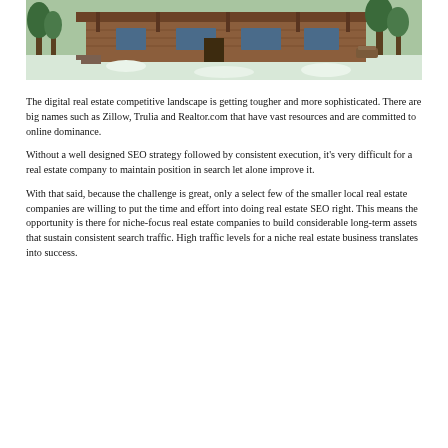[Figure (photo): Panoramic photo of a log cabin / wooden house with a covered porch, surrounded by snow and trees.]
The digital real estate competitive landscape is getting tougher and more sophisticated. There are big names such as Zillow, Trulia and Realtor.com that have vast resources and are committed to online dominance.
Without a well designed SEO strategy followed by consistent execution, it's very difficult for a real estate company to maintain position in search let alone improve it.
With that said, because the challenge is great, only a select few of the smaller local real estate companies are willing to put the time and effort into doing real estate SEO right. This means the opportunity is there for niche-focus real estate companies to build considerable long-term assets that sustain consistent search traffic. High traffic levels for a niche real estate business translates into success.